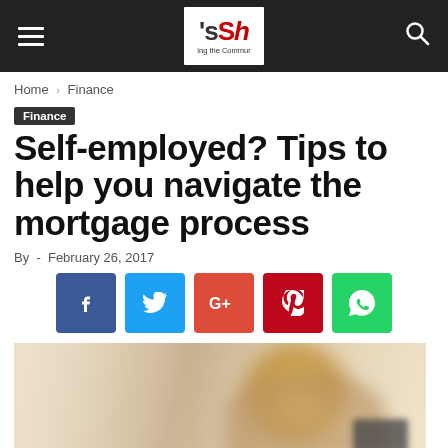Navigation bar with hamburger menu, site logo (sSh - ing the Commun), and search icon
Home › Finance
Finance
Self-employed? Tips to help you navigate the mortgage process
By  -  February 26, 2017
[Figure (other): Social media share buttons: Facebook (blue), Twitter (cyan), Google+ (red-orange), Pinterest (dark red), WhatsApp (green)]
[Figure (photo): Blurred photo of a person with blonde hair, appearing to hold a card, warm beige/tan tones]